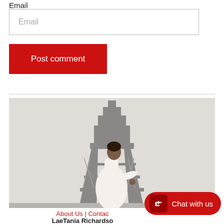Email
Email (input placeholder)
Post comment
[Figure (photo): Woman in white dress standing in front of the Eiffel Tower in Paris, looking back over her shoulder]
About Us | Contact
LaeTania Richardso...